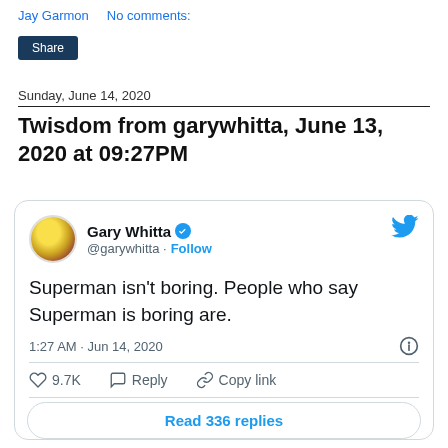Jay Garmon    No comments:
Share
Sunday, June 14, 2020
Twisdom from garywhitta, June 13, 2020 at 09:27PM
[Figure (screenshot): Embedded tweet card from @garywhitta (Gary Whitta, verified) reading: 'Superman isn't boring. People who say Superman is boring are.' Posted at 1:27 AM · Jun 14, 2020. 9.7K likes. Reply. Copy link. Read 336 replies button.]